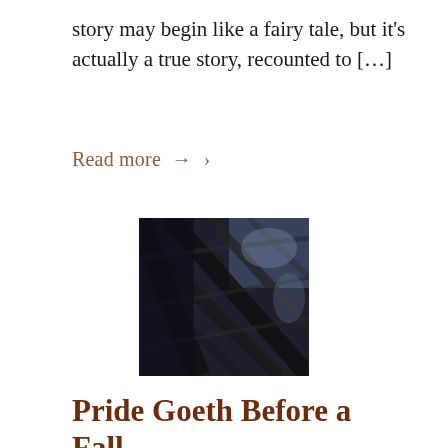story may begin like a fairy tale, but it's actually a true story, recounted to […]
Read more → ›
[Figure (photo): Close-up photograph of the Eiffel Tower's iron lattice structure, taken from below at an angle, dark tones with light sky visible through the metal beams.]
Pride Goeth Before a Fall
October 14, 2018 / 0 Comments / in Language, Recollections, Travel by Howard Daniel
Eiffel Tower (Photo: ©Howard E.